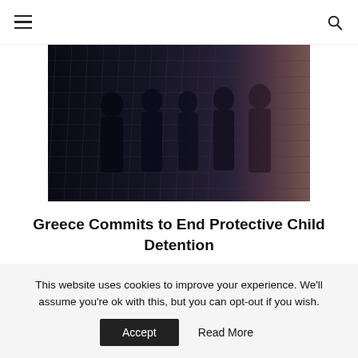Navigation header with hamburger menu and search icon
[Figure (photo): Dark silhouette photo of people standing behind a chain-link fence, dimly lit, dramatic lighting with brownish tones on the right side.]
Greece Commits to End Protective Child Detention
[Figure (infographic): Carousel navigation dots: 8 dots total, first dot filled blue (active), remaining 7 are empty circles.]
This website uses cookies to improve your experience. We'll assume you're ok with this, but you can opt-out if you wish.
Accept  Read More